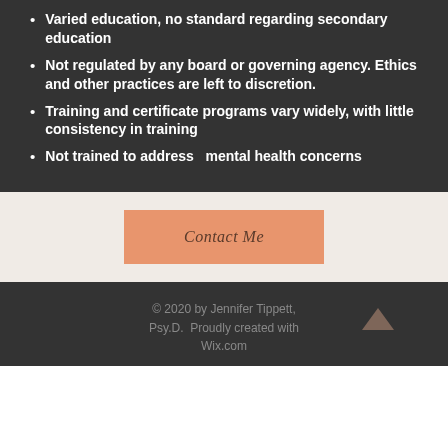Varied education, no standard regarding secondary education
Not regulated by any board or governing agency. Ethics and other practices are left to discretion.
Training and certificate programs vary widely, with little consistency in training
Not trained to address  mental health concerns
Contact Me
© 2020 by Jennifer Tippett, Psy.D.  Proudly created with Wix.com